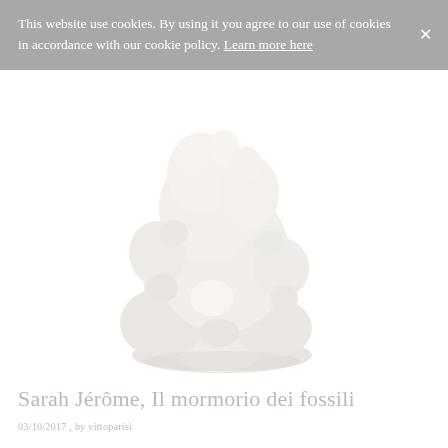This website use cookies. By using it you agree to our use of cookies in accordance with our cookie policy. Learn more here
[Figure (photo): White sculptural ceramic or plaster object resembling a coral or baroque ornamental form, photographed against a white background]
Sarah Jérôme, Il mormorio dei fossili
03/10/2017 , by vittoparisi